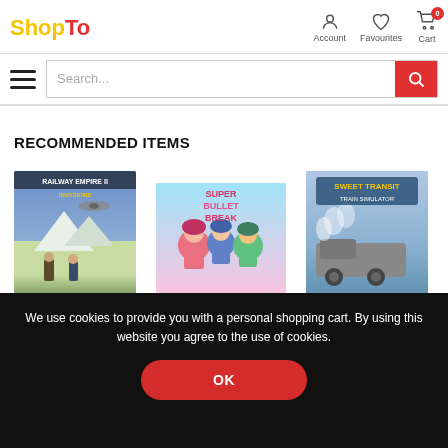[Figure (logo): ShopTo logo with yellow 'Shop' and red 'To' text]
[Figure (infographic): Navigation icons: Account (person), Favourites (heart), Cart (shopping cart with 0 badge)]
[Figure (screenshot): Hamburger menu icon (three horizontal lines)]
[Figure (screenshot): Search bar with placeholder text 'Search...' and red search button]
RECOMMENDED ITEMS
[Figure (illustration): Game cover art: military/strategy game with soldiers and aircraft]
[Figure (illustration): Game cover art: colorful anime-style game with characters]
[Figure (illustration): Game cover art: 'Sweet Transit' train simulation game]
We use cookies to provide you with a personal shopping cart. By using this website you agree to the use of cookies.
OK